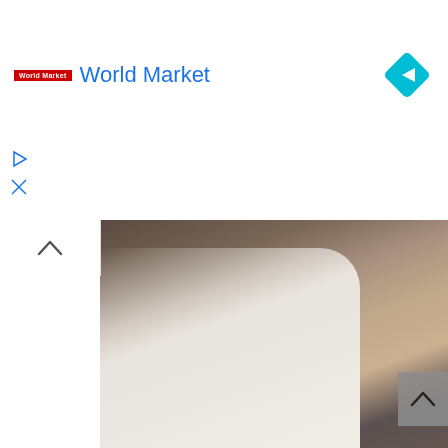Pop in & Shop New Arrivals
World Market
[Figure (screenshot): Website screenshot showing a World Market advertisement banner with 'Pop in & Shop New Arrivals' text, World Market logo, a blue navigation diamond icon on the right, and a YouTube video thumbnail below showing a woman in a white blazer and light blue shirt with a YouTube play button overlay. A scroll-up button is visible on the left side and a grey scroll-up button on the right side.]